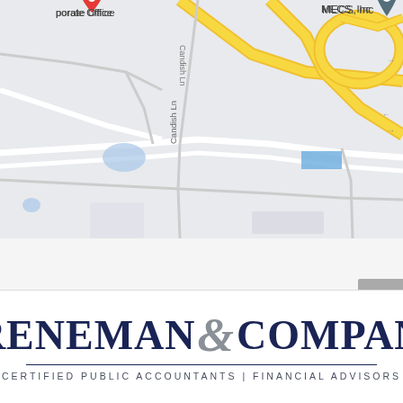[Figure (map): Google Maps screenshot showing area with landmarks: MECS Inc, Energizer Holdings Inc, Career Education Syste, Massa's Town & Country restaurant, Candish Ln road, highway 141, and a corporate office marker. Roads shown in yellow/white on gray background.]
[Figure (logo): Breneman & Company logo — large serif bold dark navy text reading BRENEMAN & COMPANY with a gray italic ampersand, underlined, with tagline CERTIFIED PUBLIC ACCOUNTANTS | FINANCIAL ADVISORS in small spaced caps below]